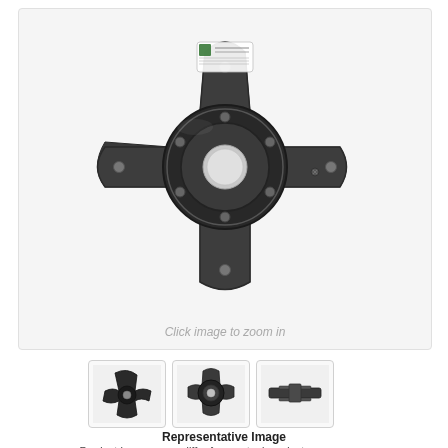[Figure (photo): Top-down view of a black four-arm star-shaped encoder mounting plate/hub with a central circular ring, multiple mounting holes, and a label affixed at the top. The component appears to be a rotary encoder rotor or coupling plate.]
Click image to zoom in
[Figure (photo): Three small thumbnail images of the same encoder component: first shows a dark angled view, second shows the top-down view similar to the main image, third shows a side profile view.]
Representative Image
Product images may differ from actual product appearance.